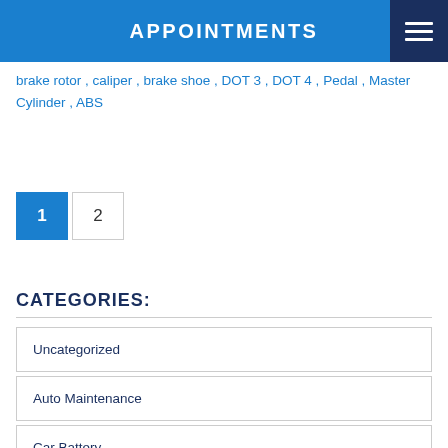APPOINTMENTS
brake rotor , caliper , brake shoe , DOT 3 , DOT 4 , Pedal , Master Cylinder , ABS
1  2
CATEGORIES:
Uncategorized
Auto Maintenance
Car Battery